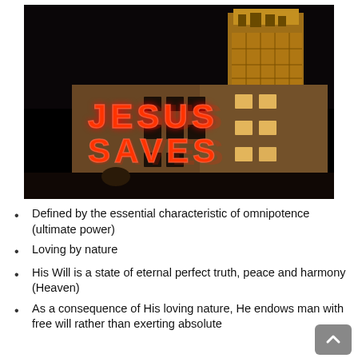[Figure (photo): Night-time photograph of a building with a glowing red neon sign reading 'JESUS SAVES'. In the background, an illuminated Gothic-style church tower is visible against a dark sky. The building has lit windows on its right side.]
Defined by the essential characteristic of omnipotence (ultimate power)
Loving by nature
His Will is a state of eternal perfect truth, peace and harmony (Heaven)
As a consequence of His loving nature, He endows man with free will rather than exerting absolute